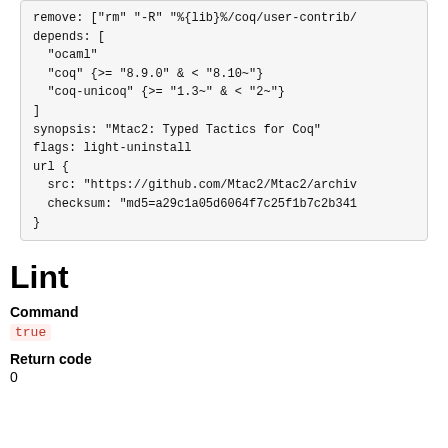remove: ["rm" "-R" "%{lib}%/coq/user-contrib/
depends: [
  "ocaml"
  "coq" {>= "8.9.0" & < "8.10~"}
  "coq-unicoq" {>= "1.3~" & < "2~"}
]
synopsis: "Mtac2: Typed Tactics for Coq"
flags: light-uninstall
url {
  src: "https://github.com/Mtac2/Mtac2/archiv
  checksum: "md5=a29c1a05d6064f7c25f1b7c2b341
}
Lint
Command
true
Return code
0